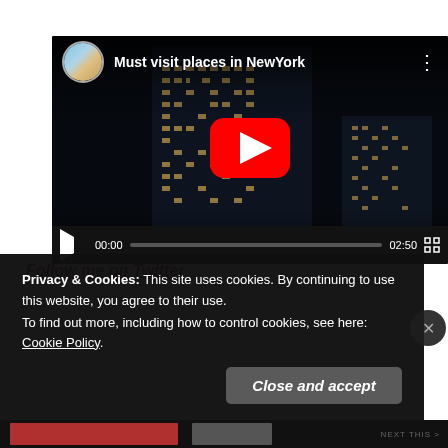[Figure (screenshot): YouTube-style video player showing 'Must visit places in NewYork' with a nighttime skyscraper background, play button, channel avatar, and video controls showing 00:00 / 02:50]
Follow me on Twitter
Privacy & Cookies: This site uses cookies. By continuing to use this website, you agree to their use.
To find out more, including how to control cookies, see here: Cookie Policy